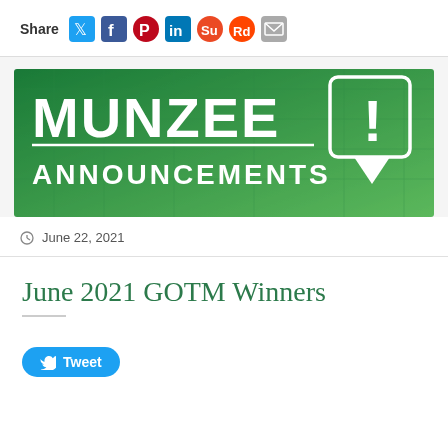Share
[Figure (infographic): Munzee Announcements banner with green gradient background, bold white MUNZEE text, horizontal rule, ANNOUNCEMENTS text, and an exclamation mark icon in a speech bubble]
June 22, 2021
June 2021 GOTM Winners
Tweet